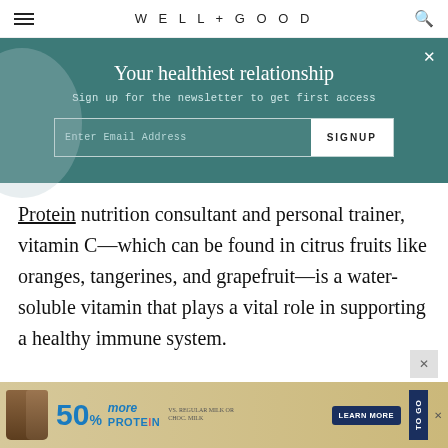WELL + GOOD
Your healthiest relationship
Sign up for the newsletter to get first access
Enter Email Address  SIGNUP
Protein nutrition consultant and personal trainer, vitamin C—which can be found in citrus fruits like oranges, tangerines, and grapefruit—is a water-soluble vitamin that plays a vital role in supporting a healthy immune system.
[Figure (photo): Advertisement banner: 50% more PROTEIN TO GO, Learn More button, with protein shake bottles]